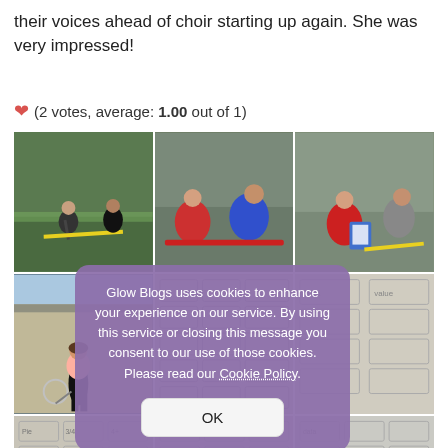their voices ahead of choir starting up again. She was very impressed!
(2 votes, average: 1.00 out of 1)
[Figure (photo): Six photos of students doing outdoor physical education activities including measuring distances on a sports pitch and playing tennis, plus grid/worksheet images]
Glow Blogs uses cookies to enhance your experience on our service. By using this service or closing this message you consent to our use of those cookies. Please read our Cookie Policy. OK